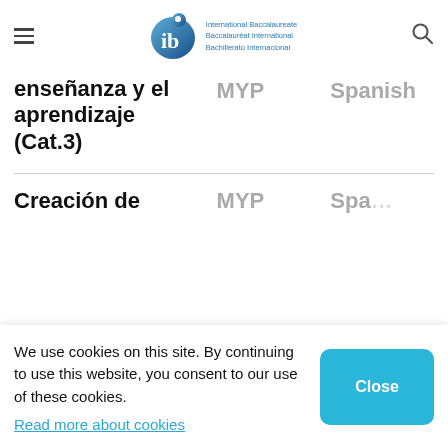International Baccalaureate Baccalauréat International Bachillerato Internacional
enseñanza y el aprendizaje (Cat.3)
MYP
Spanish
Creación de
MYP
Spanish
We use cookies on this site. By continuing to use this website, you consent to our use of these cookies.
Read more about cookies